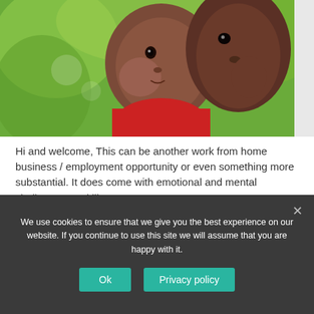[Figure (photo): Close-up photo of a baby/infant with a person nearby, outdoors with green background, baby wearing red clothing]
Hi and welcome, This can be another work from home business / employment opportunity or even something more substantial. It does come with emotional and mental challenges, and like …
[Continue Reading...]
End of life Doula Online Certification.
We use cookies to ensure that we give you the best experience on our website. If you continue to use this site we will assume that you are happy with it.